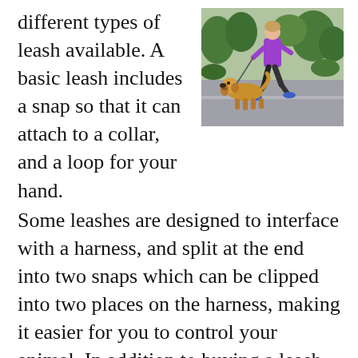different types of leash available. A basic leash includes a snap so that it can attach to a collar, and a loop for your hand.
[Figure (photo): A woman in a purple jacket jogging on a road with a golden retriever dog beside her, trees and greenery in the background.]
Some leashes are designed to interface with a harness, and split at the end into two snaps which can be clipped into two places on the harness, making it easier for you to control your animal. In addition to buying a leash of a specific length, you can also find a retractable leash. This type of leash has a snap attached to a leash which coils up inside a hand held reel. Pressing a button pulls the leash back or releases it so that the animal can have more